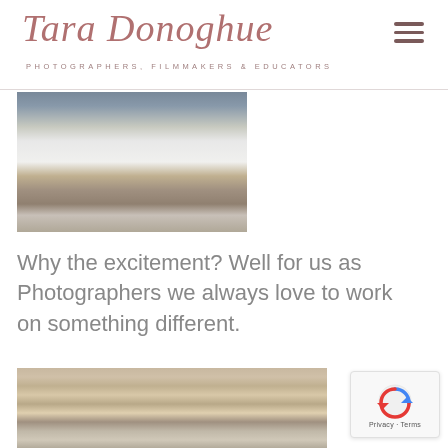Tara Donoghue — PHOTOGRAPHERS, FILMMAKERS & EDUCATORS
[Figure (photo): Close-up photo of a bride in a white wedding dress and groom in dark suit, shot from waist down, standing on cobblestone pavement]
Why the excitement? Well for us as Photographers we always love to work on something different.
[Figure (photo): Photo of a couple in front of a rustic stone wall with a weathered wooden door; the bride leans in to kiss the groom who wears a navy vest and bow tie]